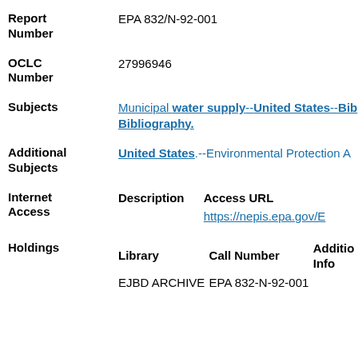Report Number: EPA 832/N-92-001
OCLC Number: 27996946
Subjects: Municipal water supply--United States--Bibliography.
Additional Subjects: United States.--Environmental Protection A...
| Description | Access URL |
| --- | --- |
|  | https://nepis.epa.gov/E... |
| Library | Call Number | Additional Info |
| --- | --- | --- |
| EJBD ARCHIVE | EPA 832-N-92-001 |  |